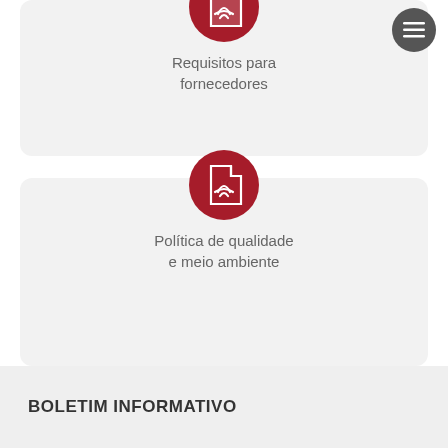[Figure (illustration): Red circular PDF icon with white document/Acrobat symbol]
Requisitos para fornecedores
[Figure (illustration): Red circular PDF icon with white document/Acrobat symbol]
Política de qualidade e meio ambiente
BOLETIM INFORMATIVO